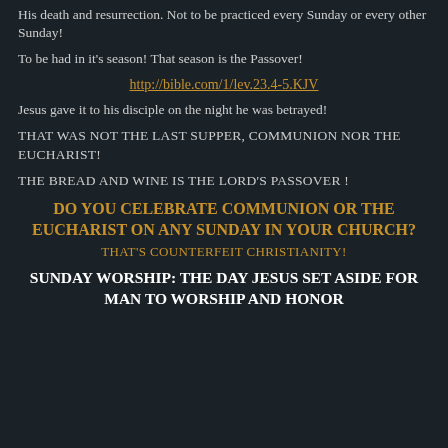His death and resurrection. Not to be practiced every Sunday or every other Sunday!
To be had in it's season! That season is the Passover!
http://bible.com/1/lev.23.4-5.KJV
Jesus gave it to his disciple on the night he was betrayed!
THAT WAS NOT THE LAST SUPPER, COMMUNION NOR THE EUCHARIST!
THE BREAD AND WINE IS THE LORD'S PASSOVER !
DO YOU CELEBRATE COMMUNION OR THE EUCHARIST ON ANY SUNDAY IN YOUR CHURCH?
THAT'S COUNTERFEIT CHRISTIANITY!
SUNDAY WORSHIP: THE DAY JESUS SET ASIDE FOR MAN TO WORSHIP AND HONOR